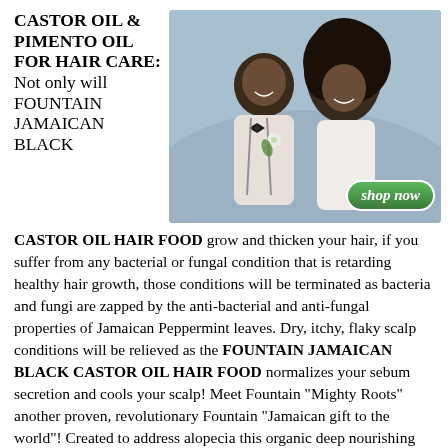CASTOR OIL & PIMENTO OIL FOR HAIR CARE: Not only will FOUNTAIN JAMAICAN BLACK CASTOR OIL HAIR FOOD
[Figure (photo): A smiling couple dressed in white formal wear, with a 'shop now' button overlay in the bottom right corner.]
grow and thicken your hair, if you suffer from any bacterial or fungal condition that is retarding healthy hair growth, those conditions will be terminated as bacteria and fungi are zapped by the anti-bacterial and anti-fungal properties of Jamaican Peppermint leaves. Dry, itchy, flaky scalp conditions will be relieved as the FOUNTAIN JAMAICAN BLACK CASTOR OIL HAIR FOOD normalizes your sebum secretion and cools your scalp! Meet Fountain "Mighty Roots" another proven, revolutionary Fountain "Jamaican gift to the world"! Created to address alopecia this organic deep nourishing oil rich in